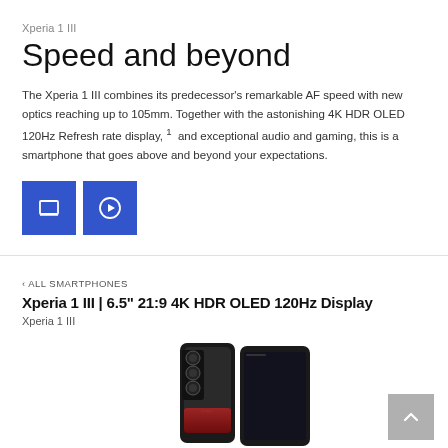Xperia 1 III
Speed and beyond
The Xperia 1 III combines its predecessor's remarkable AF speed with new optics reaching up to 105mm. Together with the astonishing 4K HDR OLED 120Hz Refresh rate display, ¹  and exceptional audio and gaming, this is a smartphone that goes above and beyond your expectations.
[Figure (other): Two blue square buttons: a slideshow/presentation icon button and a play/video icon button]
‹ ALL SMARTPHONES
Xperia 1 III | 6.5" 21:9 4K HDR OLED 120Hz Display
Xperia 1 III
[Figure (photo): Sony Xperia 1 III smartphone shown from front and back, in black color, with triple camera system visible]